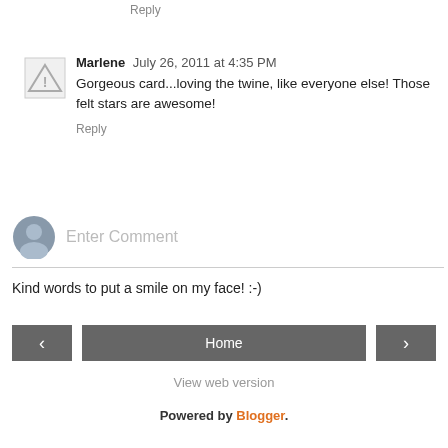Reply
Marlene  July 26, 2011 at 4:35 PM
Gorgeous card...loving the twine, like everyone else! Those felt stars are awesome!
Reply
Enter Comment
Kind words to put a smile on my face! :-)
< Home >
View web version
Powered by Blogger.